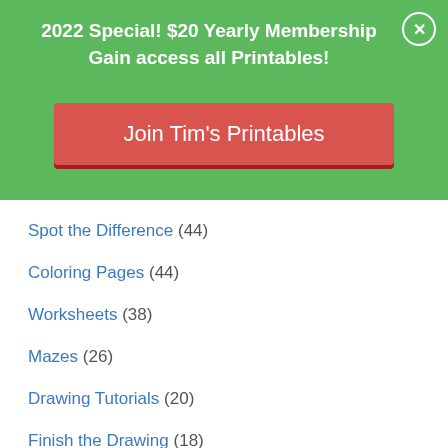2022 Special! $20 Yearly Membership
Gain access all Printables!
[Figure (other): Red button labeled 'Join Tim's Printables']
Spot the Difference (44)
Coloring Pages (44)
Worksheets (38)
Mazes (26)
Drawing Tutorials (20)
Finish the Drawing (18)
Word Searches (17)
Shape Templates (17)